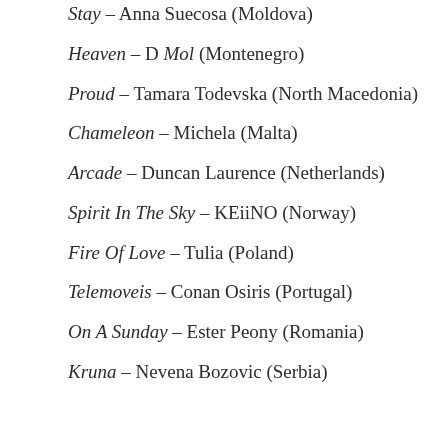Stay – Anna Suecosa (Moldova)
Heaven – D Mol (Montenegro)
Proud – Tamara Todevska (North Macedonia)
Chameleon – Michela (Malta)
Arcade – Duncan Laurence (Netherlands)
Spirit In The Sky – KEiiNO (Norway)
Fire Of Love – Tulia (Poland)
Telemoveis – Conan Osiris (Portugal)
On A Sunday – Ester Peony (Romania)
Kruna – Nevena Bozovic (Serbia)